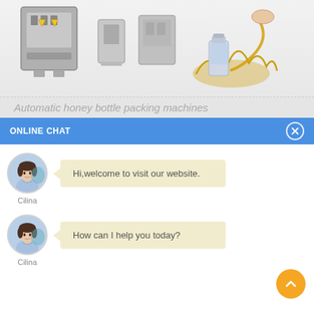[Figure (photo): Product banner showing industrial filling/packing machines on the left and a motor oil bottle with golden liquid splash on the right, on a light gray background]
Automatic honey bottle packing machines
ONLINE CHAT
[Figure (photo): Avatar of a female customer service agent named Cilina in a light blue shirt]
Hi,welcome to visit our website.
Cilina
[Figure (photo): Avatar of a female customer service agent named Cilina in a light blue shirt]
How can I help you today?
Cilina